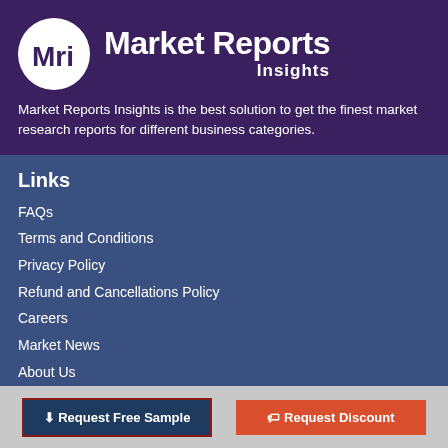[Figure (logo): Market Reports Insights logo — circular white badge with 'Mri' text, next to 'Market Reports' in large bold white text and 'Insights' in smaller white text]
Market Reports Insights is the best solution to get the finest market research reports for different business categories.
Links
FAQs
Terms and Conditions
Privacy Policy
Refund and Cancellations Policy
Careers
Market News
About Us
Contact Us
Contact Us